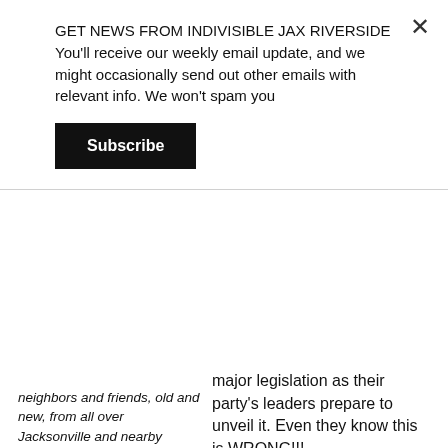GET NEWS FROM INDIVISIBLE JAX RIVERSIDE You'll receive our weekly email update, and we might occasionally send out other emails with relevant info. We won't spam you
Subscribe
neighbors and friends, old and new, from all over Jacksonville and nearby communities — came together for a die-in highlighting the very real human cost of Congressman Rutherford's vote in favor of Trumpcare.
major legislation as their party's leaders prepare to unveil it. Even they know this is WRONG!!!
The healthcare bill will be released to the Republican Senate Conference this morning
and posted online. A vote could come as soon as next week. The ACA is in GRAVE DANGER and we must keep